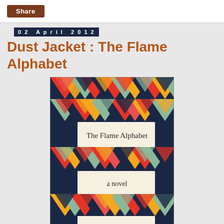Share
02 April 2012
Dust Jacket : The Flame Alphabet
[Figure (illustration): Book cover of 'The Flame Alphabet' by Ben Marcus – a novel. The cover features a geometric pattern of repeating upward-pointing triangles/chevrons in red, orange, yellow, dark navy, and sage green, arranged in overlapping rows. Three horizontal cream/off-white banner strips across the cover display the text: 'The Flame Alphabet', 'a novel', and 'Ben Marcus'.]